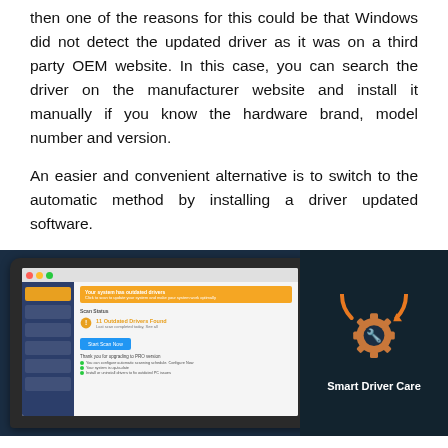then one of the reasons for this could be that Windows did not detect the updated driver as it was on a third party OEM website. In this case, you can search the driver on the manufacturer website and install it manually if you know the hardware brand, model number and version.
An easier and convenient alternative is to switch to the automatic method by installing a driver updated software.
[Figure (screenshot): Screenshot of Smart Driver Care software interface showing a laptop screen with the application open, displaying a scan status with '11 Outdated Drivers Found' alert and a 'Start Scan Now' button. On the right side is the Smart Driver Care logo (gear with wrench icon and orange arrow) on a dark blue background.]